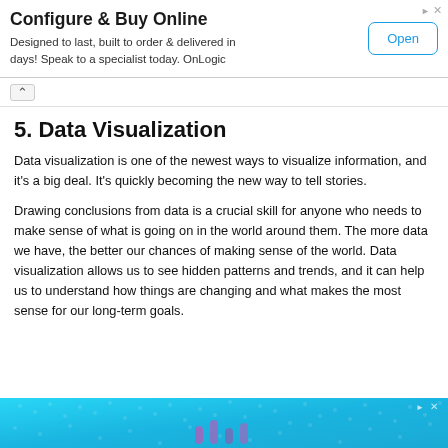[Figure (other): Advertisement banner: 'Configure & Buy Online' with tagline 'Designed to last, built to order & delivered in days! Speak to a specialist today. OnLogic' and an 'Open' button]
5. Data Visualization
Data visualization is one of the newest ways to visualize information, and it's a big deal. It's quickly becoming the new way to tell stories.
Drawing conclusions from data is a crucial skill for anyone who needs to make sense of what is going on in the world around them. The more data we have, the better our chances of making sense of the world. Data visualization allows us to see hidden patterns and trends, and it can help us to understand how things are changing and what makes the most sense for our long-term goals.
[Figure (other): Advertisement banner at bottom with blue/cyan background showing partial ad content]